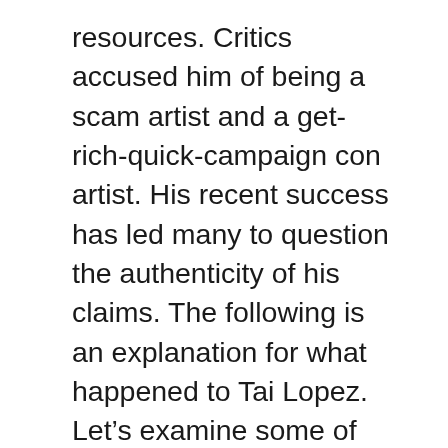resources. Critics accused him of being a scam artist and a get-rich-quick-campaign con artist. His recent success has led many to question the authenticity of his claims. The following is an explanation for what happened to Tai Lopez. Let's examine some of the main factors behind his sudden fame. Tai Lopez: Who are you?
Born on 11th April 1977 in Long Beach, California, Tai Lopez has achieved a great deal despite his humble beginnings. Despite his humble upbringing, Tai was an avid reader, selling lemonade and tomatoes at a young age. He started his own business selling cherry tomato products at the age of six. Tai has been a prominent Hollywood businessman since then. Although Tai has